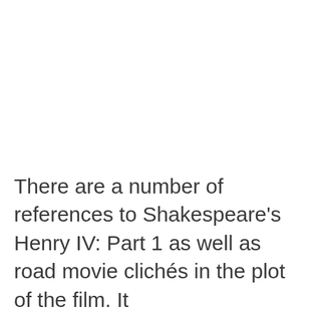There are a number of references to Shakespeare's Henry IV: Part 1 as well as road movie clichés in the plot of the film. It